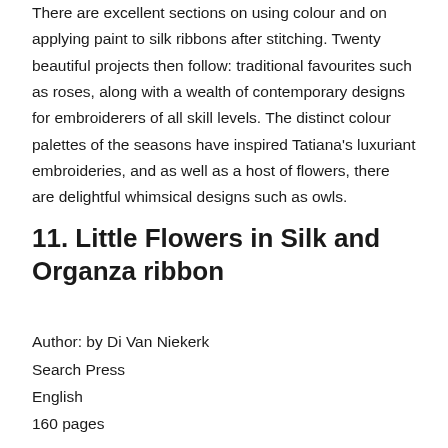There are excellent sections on using colour and on applying paint to silk ribbons after stitching. Twenty beautiful projects then follow: traditional favourites such as roses, along with a wealth of contemporary designs for embroiderers of all skill levels. The distinct colour palettes of the seasons have inspired Tatiana's luxuriant embroideries, and as well as a host of flowers, there are delightful whimsical designs such as owls.
11. Little Flowers in Silk and Organza ribbon
Author: by Di Van Niekerk
Search Press
English
160 pages